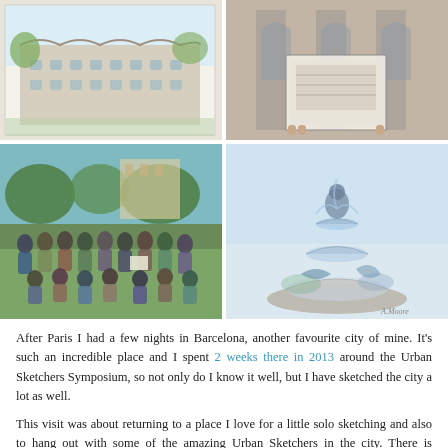[Figure (photo): Four photos in a 2x2 grid: top-left: watercolor sketch of Casa Milà (La Pedrera) building; top-right: architectural sketch of a large building held up against the real building; bottom-left: group photo of Urban Sketchers in a park; bottom-right: detailed watercolor sketch of an ornate fountain.]
After Paris I had a few nights in Barcelona, another favourite city of mine. It's such an incredible place and I spent 2 weeks there in 2013 around the Urban Sketchers Symposium, so not only do I know it well, but I have sketched the city a lot as well.
This visit was about returning to a place I love for a little solo sketching and also to hang out with some of the amazing Urban Sketchers in the city. There is something super inspiring about the work of the Spanish sketchers.